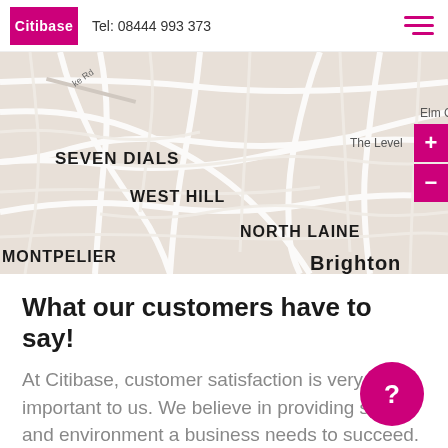Citibase  Tel: 08444 993 373
[Figure (map): Street map showing Brighton area with neighborhoods labeled: SEVEN DIALS, WEST HILL, NORTH LAINE, MONTPELIER, HANOVER, Queen's Park Brighton, The Level, Elm Grove. Map zoom controls (+/-) on right side in magenta.]
What our customers have to say!
At Citibase, customer satisfaction is very important to us. We believe in providing space and environment a business needs to succeed. This includes ensuring all of our